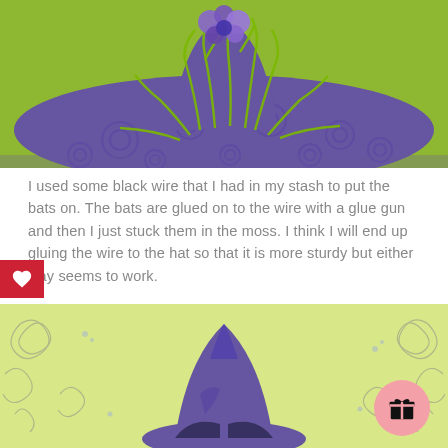[Figure (photo): Top-down view of a purple witch hat decorated with green wire/moss tendrils and purple flower decorations on a green background]
I used some black wire that I had in my stash to put the bats on. The bats are glued on to the wire with a glue gun and then I just stuck them in the moss. I think I will end up gluing the wire to the hat so that it is more sturdy but either way seems to work.
[Figure (photo): A purple witch hat shape cutout on a light green/yellow patterned background with swirly decorations]